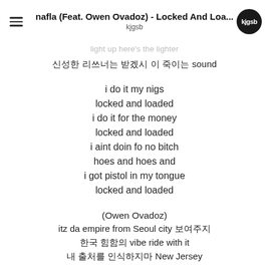nafla (Feat. Owen Ovadoz) - Locked And Loa... | kjgsb
light up here's the lighter
신성한 리쓰너는 받겠시 이 죽이는 sound
i do it my nigs
locked and loaded
i do it for the money
locked and loaded
i aint doin fo no bitch
hoes and hoes and
i got pistol in my tongue
locked and loaded
(Owen Ovadoz)
itz da empire from Seoul city 보여주지
한국 힘함의 vibe ride with it
내 출처를 인식하지마 New Jersey